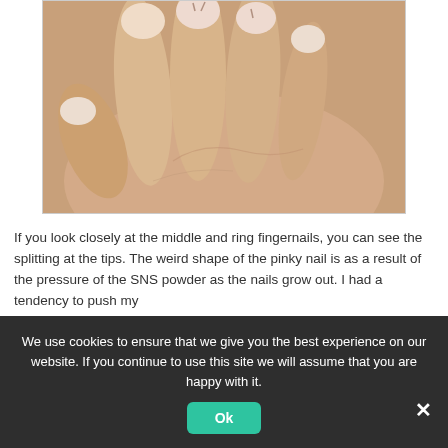[Figure (photo): Close-up photograph of a hand with fingers curled, showing fingernails with visible splitting at the tips of the middle and ring fingers, and a misshapen pinky nail.]
If you look closely at the middle and ring fingernails, you can see the splitting at the tips. The weird shape of the pinky nail is as a result of the pressure of the SNS powder as the nails grow out. I had a tendency to push my
We use cookies to ensure that we give you the best experience on our website. If you continue to use this site we will assume that you are happy with it.